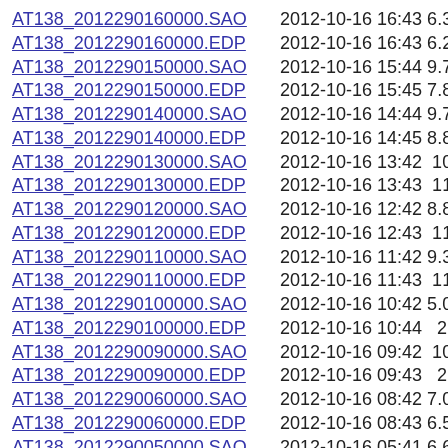AT138_2012290160000.SAO 2012-10-16 16:43 6.3K
AT138_2012290160000.EDP 2012-10-16 16:43 6.2K
AT138_2012290150000.SAO 2012-10-16 15:44 9.7K
AT138_2012290150000.EDP 2012-10-16 15:45 7.8K
AT138_2012290140000.SAO 2012-10-16 14:44 9.7K
AT138_2012290140000.EDP 2012-10-16 14:45 8.8K
AT138_2012290130000.SAO 2012-10-16 13:42  10K
AT138_2012290130000.EDP 2012-10-16 13:43  11K
AT138_2012290120000.SAO 2012-10-16 12:42 8.8K
AT138_2012290120000.EDP 2012-10-16 12:43  11K
AT138_2012290110000.SAO 2012-10-16 11:42 9.3K
AT138_2012290110000.EDP 2012-10-16 11:43  11K
AT138_2012290100000.SAO 2012-10-16 10:42 5.0K
AT138_2012290100000.EDP 2012-10-16 10:44   212
AT138_2012290090000.SAO 2012-10-16 09:42  10K
AT138_2012290090000.EDP 2012-10-16 09:43   212
AT138_2012290060000.SAO 2012-10-16 08:42 7.0K
AT138_2012290060000.EDP 2012-10-16 08:43 6.5K
AT138_2012290050000.SAO 2012-10-16 05:41 6.6K
AT138_2012290050000.EDP 2012-10-16 05:43 6.8K